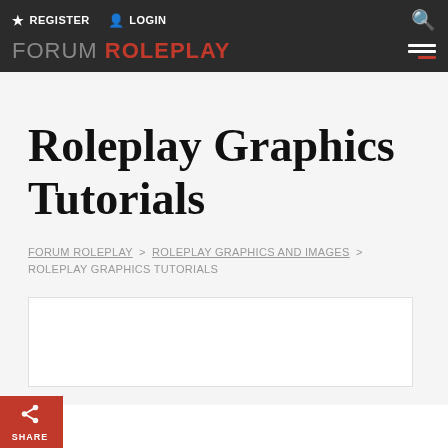REGISTER  LOGIN  [search icon]  FORUM ROLEPLAY [hamburger menu]
Roleplay Graphics Tutorials
FORUM ROLEPLAY > ROLEPLAY GRAPHICS AND IMAGES > ROLEPLAY GRAPHICS TUTORIALS
[Figure (screenshot): White content box area at bottom of page]
SHARE